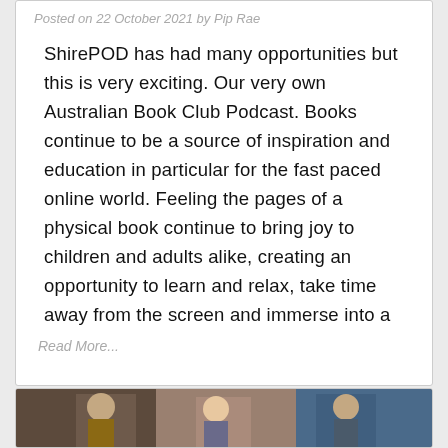Posted on 22 October 2021 by Pip Rae
ShirePOD has had many opportunities but this is very exciting. Our very own Australian Book Club Podcast. Books continue to be a source of inspiration and education in particular for the fast paced online world. Feeling the pages of a physical book continue to bring joy to children and adults alike, creating an opportunity to learn and relax, take time away from the screen and immerse into a
Read More...
[Figure (photo): A photo strip showing people, partially visible at the bottom of the page]